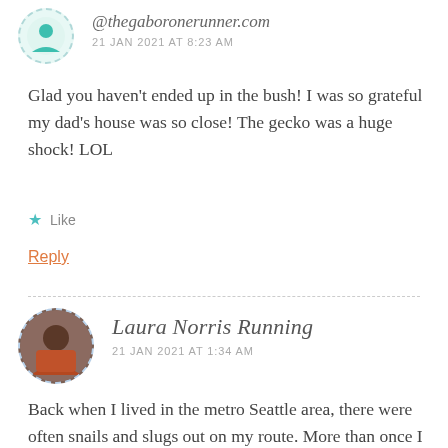@thegaboronerunner.com
21 JAN 2021 AT 8:23 AM
Glad you haven't ended up in the bush! I was so grateful my dad's house was so close! The gecko was a huge shock! LOL
Like
Reply
Laura Norris Running
21 JAN 2021 AT 1:34 AM
Back when I lived in the metro Seattle area, there were often snails and slugs out on my route. More than once I felt the nauseating sensation of a snail shell crunching